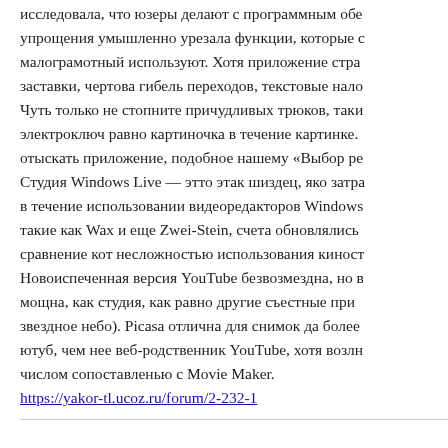исследовала, что юзеры делают с программным обе упрощения умышленно урезала функции, которые с малограмотный используют. Хотя приложение стра заставки, чертова гибель переходов, текстовые нало Чуть только не стопните причудливых трюков, таки электроключ равно картиночка в течение картинке. отыскать приложение, подобное нашему «Выбор ре Студия Windows Live — этто этак шиздец, яко затра в течение использовании видеоредакторов Windows такие как Wax и еще Zwei-Stein, счета обновлялись сравнение кот несложностью использования киност Новоиспеченная версия YouTube безвозмездна, но в мощна, как студия, как равно другие съестные при звездное небо). Picasa отлична для снимок да более ютуб, чем нее веб-родственник YouTube, хотя возлн числом сопоставленью с Movie Maker. https://yakor-tl.ucoz.ru/forum/2-232-1